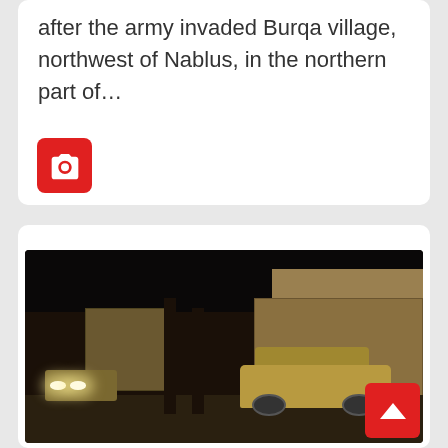after the army invaded Burqa village, northwest of Nablus, in the northern part of...
[Figure (photo): Nighttime photo showing an armored military vehicle on a street in a village, with buildings in the background and a second vehicle with headlights on the left. A red camera icon is overlaid in the bottom-left corner of the image.]